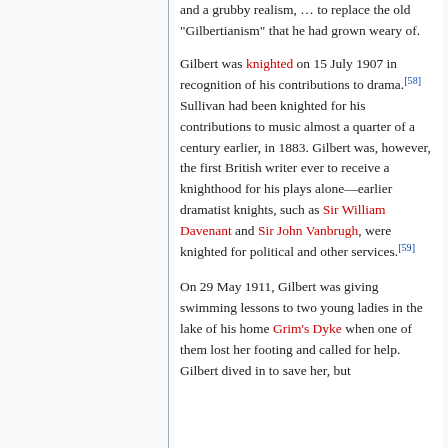and a grubby realism, … to replace the old "Gilbertianism" that he had grown weary of.
Gilbert was knighted on 15 July 1907 in recognition of his contributions to drama.[58] Sullivan had been knighted for his contributions to music almost a quarter of a century earlier, in 1883. Gilbert was, however, the first British writer ever to receive a knighthood for his plays alone—earlier dramatist knights, such as Sir William Davenant and Sir John Vanbrugh, were knighted for political and other services.[59]
On 29 May 1911, Gilbert was giving swimming lessons to two young ladies in the lake of his home Grim's Dyke when one of them lost her footing and called for help. Gilbert dived in to save her, but